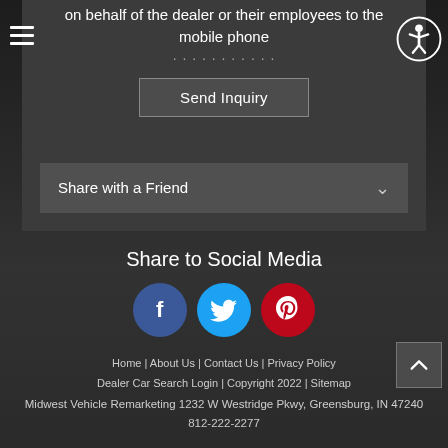on behalf of the dealer or their employees to the mobile phone
Send Inquiry
Share with a Friend
Share to Social Media
[Figure (infographic): Social media share icons: Facebook (blue circle), Twitter (light blue circle), Pinterest (red circle)]
Home | About Us | Contact Us | Privacy Policy
Dealer Car Search Login | Copyright 2022 | Sitemap
Midwest Vehicle Remarketing 1232 W Westridge Pkwy, Greensburg, IN 47240
812-222-2277